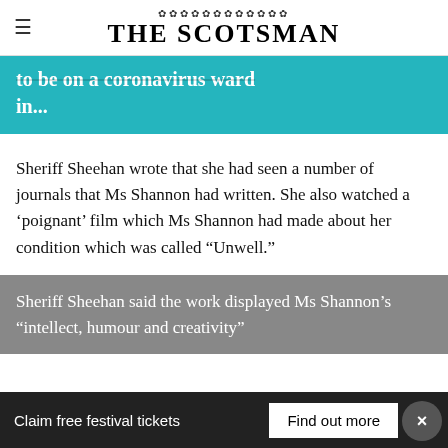THE SCOTSMAN
[Figure (other): Teal/cyan banner with partially visible white text reading '...to be on a coronavirus ward in...']
Sheriff Sheehan wrote that she had seen a number of journals that Ms Shannon had written. She also watched a ‘poignant’ film which Ms Shannon had made about her condition which was called “Unwell.”
Sheriff Sheehan said the work displayed Ms Shannon’s “intellect, humour and creativity”
Claim free festival tickets   Find out more